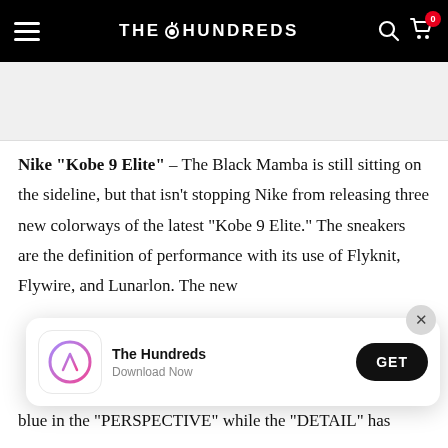THE HUNDREDS
[Figure (photo): Partial image of Nike Kobe 9 Elite sneaker, mostly white/gray area]
Nike “Kobe 9 Elite” – The Black Mamba is still sitting on the sideline, but that isn’t stopping Nike from releasing three new colorways of the latest “Kobe 9 Elite.” The sneakers are the definition of performance with its use of Flyknit, Flywire, and Lunarlon. The new
[Figure (screenshot): App store download banner for The Hundreds app with App Store icon, 'The Hundreds', 'Download Now', and GET button]
blue in the “PERSPECTIVE” while the “DETAIL” has